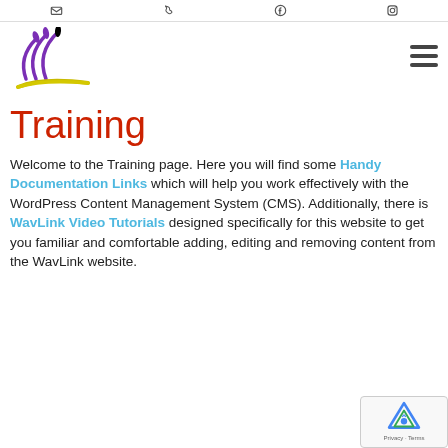[social icons: email, phone, facebook, instagram]
[Figure (logo): WavLink logo: purple stylized wave/bird shape with yellow swoosh underneath]
Training
Welcome to the Training page. Here you will find some Handy Documentation Links which will help you work effectively with the WordPress Content Management System (CMS). Additionally, there is WavLink Video Tutorials designed specifically for this website to get you familiar and comfortable adding, editing and removing content from the WavLink website.